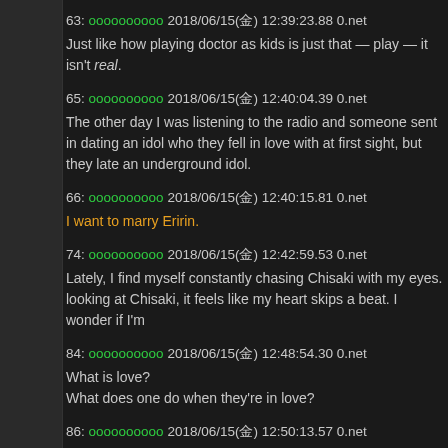63: [username] 2018/06/15(金) 12:39:23.88 0.net
Just like how playing doctor as kids is just that — play — it isn't real.
65: [username] 2018/06/15(金) 12:40:04.39 0.net
The other day I was listening to the radio and someone sent in dating an idol who they fell in love with at first sight, but they later an underground idol.
66: [username] 2018/06/15(金) 12:40:15.81 0.net
I want to marry Eririn.
74: [username] 2018/06/15(金) 12:42:59.53 0.net
Lately, I find myself constantly chasing Chisaki with my eyes. looking at Chisaki, it feels like my heart skips a beat. I wonder if I'm
84: [username] 2018/06/15(金) 12:48:54.30 0.net
What is love?
What does one do when they're in love?
86: [username] 2018/06/15(金) 12:50:13.57 0.net